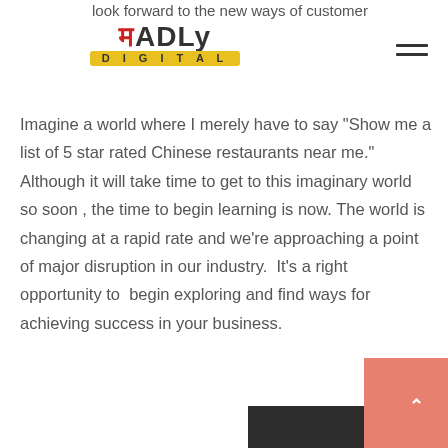look forward to the new ways of customer
[Figure (logo): Madly Digital logo with red Hindi character M, bold black ADLY text, and yellow bar with DIGITAL text]
Imagine a world where I merely have to say “Show me a list of 5 star rated Chinese restaurants near me.” Although it will take time to get to this imaginary world so soon , the time to begin learning is now. The world is changing at a rapid rate and we’re approaching a point of major disruption in our industry.  It’s a right opportunity to  begin exploring and find ways for achieving success in your business.